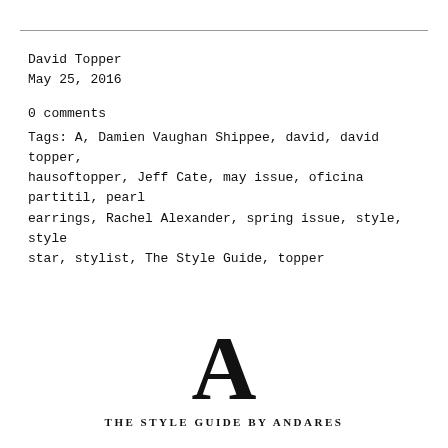David Topper
May 25, 2016
0 comments
Tags: A, Damien Vaughan Shippee, david, david topper, hausoftopper, Jeff Cate, may issue, oficina partitil, pearl earrings, Rachel Alexander, spring issue, style, style star, stylist, The Style Guide, topper
[Figure (logo): Large serif capital letter A above the text THE STYLE GUIDE BY ANDARES]